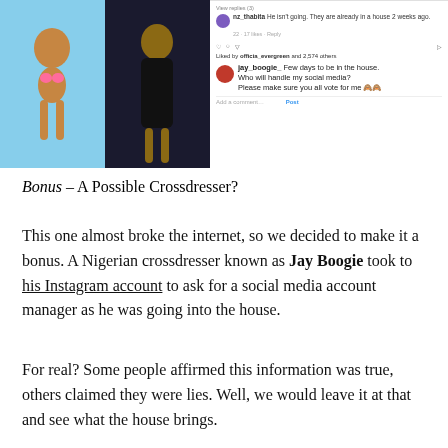[Figure (screenshot): Instagram post screenshot showing jay_boogie_ with caption 'Few days to be in the house. Who will handle my social media? Please make sure you all vote for me' alongside a comment from nz_thabita saying 'He isn't going. They are already in a house 2 weeks ago.' with likes and action icons visible. The photo area shows two people, one in a bikini and one in a black dress, with a watermark overlay.]
Bonus – A Possible Crossdresser?
This one almost broke the internet, so we decided to make it a bonus. A Nigerian crossdresser known as Jay Boogie took to his Instagram account to ask for a social media account manager as he was going into the house.
For real? Some people affirmed this information was true, others claimed they were lies. Well, we would leave it at that and see what the house brings.